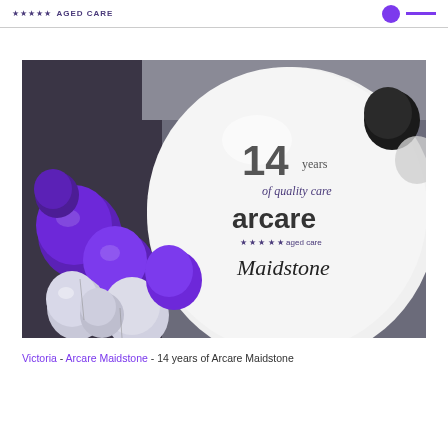★★★★★ AGED CARE
[Figure (photo): Large white balloon printed with '14 years of quality care arcare ★★★★★ aged care Maidstone' text, surrounded by purple and white smaller balloons in the background.]
Victoria - Arcare Maidstone - 14 years of Arcare Maidstone